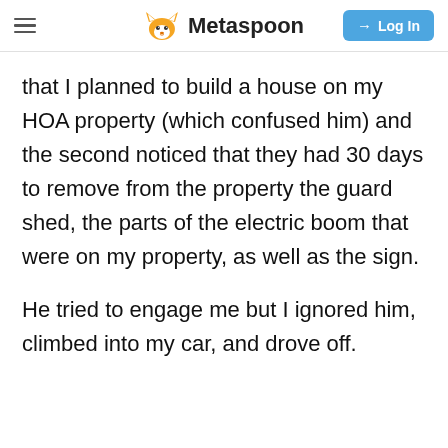Metaspoon | Log In
that I planned to build a house on my HOA property (which confused him) and the second noticed that they had 30 days to remove from the property the guard shed, the parts of the electric boom that were on my property, as well as the sign.
He tried to engage me but I ignored him, climbed into my car, and drove off.